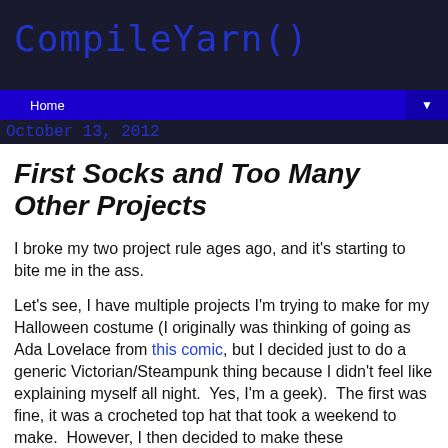CompileYarn()
Home ▼
October 13, 2012
First Socks and Too Many Other Projects
I broke my two project rule ages ago, and it's starting to bite me in the ass.
Let's see, I have multiple projects I'm trying to make for my Halloween costume (I originally was thinking of going as Ada Lovelace from this comic, but I decided just to do a generic Victorian/Steampunk thing because I didn't feel like explaining myself all night.  Yes, I'm a geek).  The first was fine, it was a crocheted top hat that took a weekend to make.  However, I then decided to make these spatterdashers (since I own no Victorian style boots), and oh